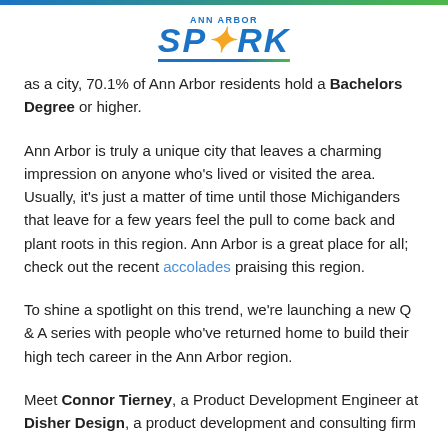ANN ARBOR SPARK
as a city, 70.1% of Ann Arbor residents hold a Bachelors Degree or higher.
Ann Arbor is truly a unique city that leaves a charming impression on anyone who’s lived or visited the area. Usually, it’s just a matter of time until those Michiganders that leave for a few years feel the pull to come back and plant roots in this region. Ann Arbor is a great place for all; check out the recent accolades praising this region.
To shine a spotlight on this trend, we’re launching a new Q & A series with people who’ve returned home to build their high tech career in the Ann Arbor region.
Meet Connor Tierney, a Product Development Engineer at Disher Design, a product development and consulting firm